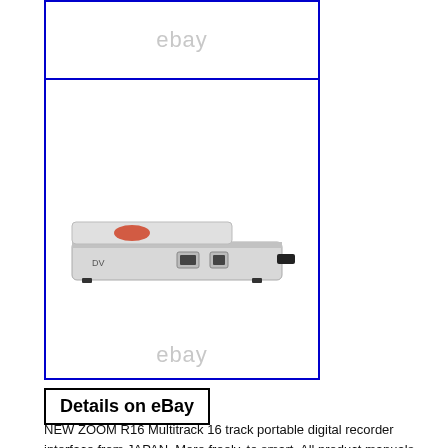[Figure (photo): Top image box with eBay watermark text, white background, blue border]
[Figure (photo): Side view of a ZOOM R16 Multitrack portable digital recorder device (white/silver), showing USB ports and disc slot, with eBay watermark below, blue border]
Details on eBay
NEW ZOOM R16 Multitrack 16 track portable digital recorder interface from JAPAN. More freely, to smart. All product manuals are in Japanese. We can not guarantee allergic diseases caused by products. Games and game software are in Japanese version.